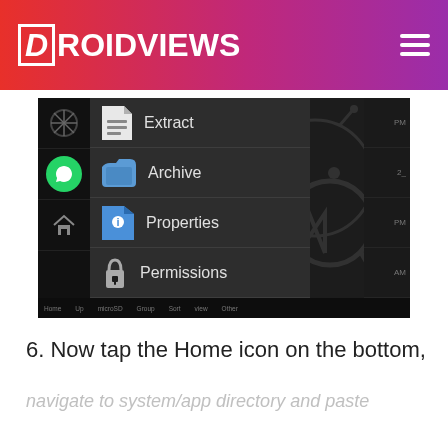DroidViews
[Figure (screenshot): Android file manager context menu showing options: Extract, Archive, Properties, Permissions. Dark theme UI with blue folder icons and Android logo watermark in background.]
6. Now tap the Home icon on the bottom,
navigate to system/app directory and paste